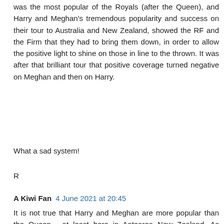was the most popular of the Royals (after the Queen), and Harry and Meghan's tremendous popularity and success on their tour to Australia and New Zealand, showed the RF and the Firm that they had to bring them down, in order to allow the positive light to shine on those in line to the thrown. It was after that brilliant tour that positive coverage turned negative on Meghan and then on Harry.
What a sad system!
R
A Kiwi Fan  4 June 2021 at 20:45
It is not true that Harry and Meghan are more popular than the Queen - at least here in Aotearoa New Zealand. As elsewhere, Harry and Meghan appealed to a younger generation, but so do William and Kate. The Cambridges are definitely doing things differently including the way they bring up their children so change is